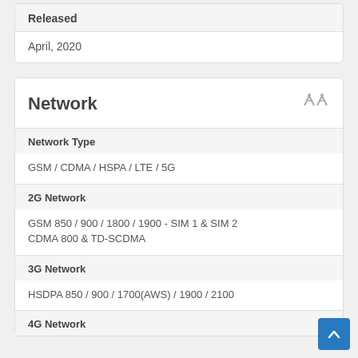Released
April, 2020
Network
Network Type
GSM / CDMA / HSPA / LTE / 5G
2G Network
GSM 850 / 900 / 1800 / 1900 - SIM 1 & SIM 2
CDMA 800 & TD-SCDMA
3G Network
HSDPA 850 / 900 / 1700(AWS) / 1900 / 2100
4G Network